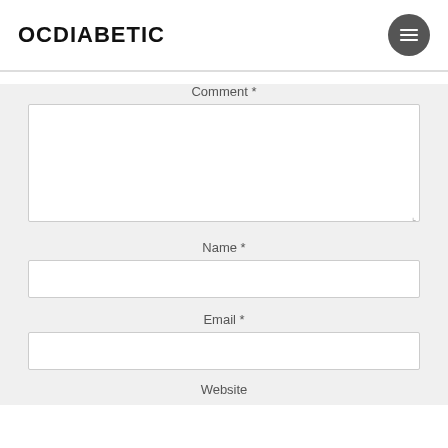OCDIABETIC
Comment *
Name *
Email *
Website